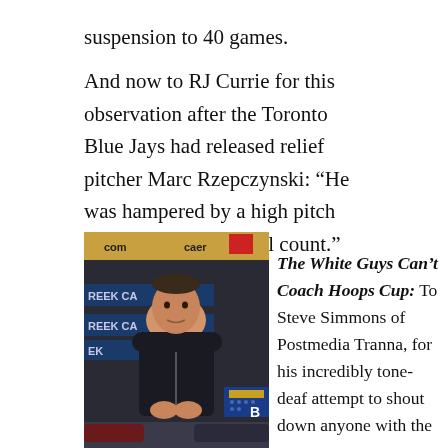suspension to 40 games.
And now to RJ Currie for this observation after the Toronto Blue Jays had released relief pitcher Marc Rzepczynski: “He was hampered by a high pitch count and a low vowel count.”
[Figure (photo): A man in a dark zip-up jacket sitting courtside at a basketball game, with sponsors banners visible in the background.]
The White Guys Can’t Coach Hoops Cup: To Steve Simmons of Postmedia Tranna, for his incredibly tone-deaf attempt to shout down anyone with the